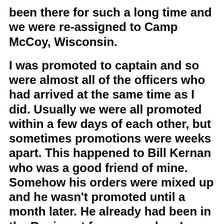…of our time at Fort Sam after having been there for such a long time and we were re-assigned to Camp McCoy, Wisconsin.
I was promoted to captain and so were almost all of the officers who had arrived at the same time as I did. Usually we were all promoted within a few days of each other, but sometimes promotions were weeks apart. This happened to Bill Kernan who was a good friend of mine. Somehow his orders were mixed up and he wasn't promoted until a month later. He already had been in the Regiment for a year when I arrived and now I ranked him by about several months. But we were good friends and he took it very…